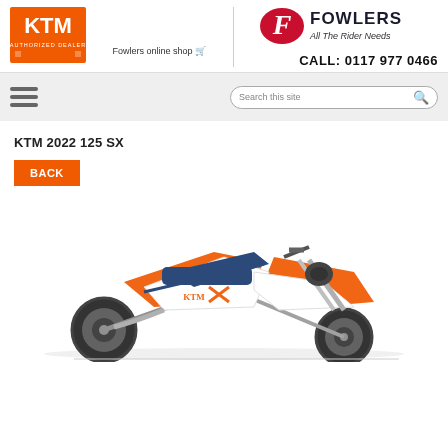[Figure (logo): KTM Authorized Dealer orange logo]
Fowlers online shop 🛒
[Figure (logo): Fowlers All The Rider Needs logo]
CALL: 0117 977 0466
[Figure (other): Navigation bar with hamburger menu and search box reading 'Search this site']
KTM 2022 125 SX
BACK
[Figure (photo): KTM 2022 125 SX motocross bike in white and orange colors, side view, partially cropped]